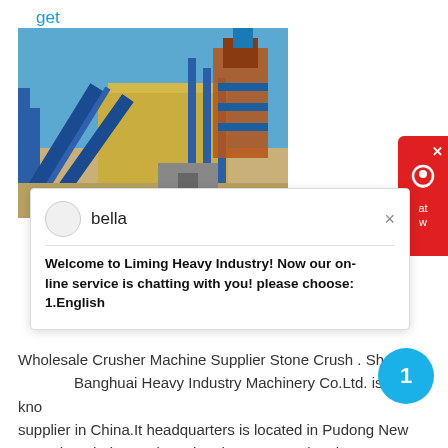get price
[Figure (photo): Industrial facility with blue metal conveyor structures, scaffolding, and machinery under a clear blue sky]
[Figure (screenshot): Chat popup with avatar circle, username 'bella', close X button, and bold message: 'Welcome to Liming Heavy Industry! Now our on-line service is chatting with you! please choose: 1.English']
Wholesale Crusher Machine Supplier Stone Crush . Sha Banghuai Heavy Industry Machinery Co.Ltd. is a well kno supplier in China.It headquarters is located in Pudong New AreaShanghai.For a long timethe company has been adhering to the scientific management mode of modern enterprisesand has become one of the most professional crusher suppliers in China with the characteristics of